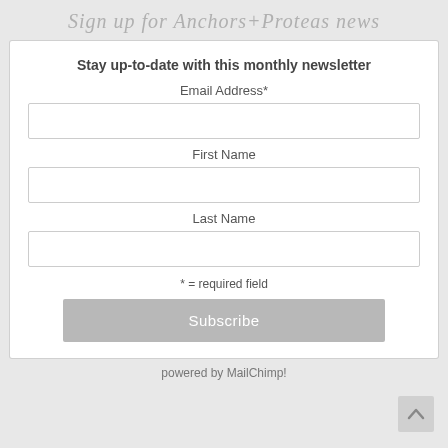Sign up for Anchors+Proteas news
Stay up-to-date with this monthly newsletter
Email Address*
First Name
Last Name
* = required field
Subscribe
powered by MailChimp!